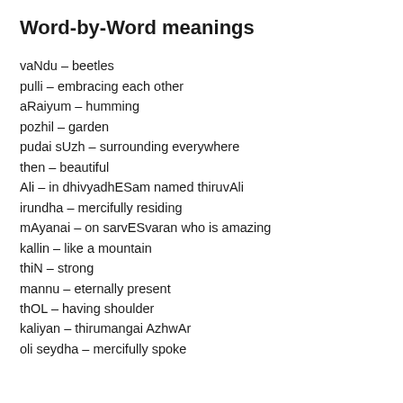Word-by-Word meanings
vaNdu – beetles
pulli – embracing each other
aRaiyum – humming
pozhil – garden
pudai sUzh – surrounding everywhere
then – beautiful
Ali – in dhivyadhESam named thiruvAli
irundha – mercifully residing
mAyanai – on sarvESvaran who is amazing
kallin – like a mountain
thiN – strong
mannu – eternally present
thOL – having shoulder
kaliyan – thirumangai AzhwAr
oli seydha – mercifully spoke